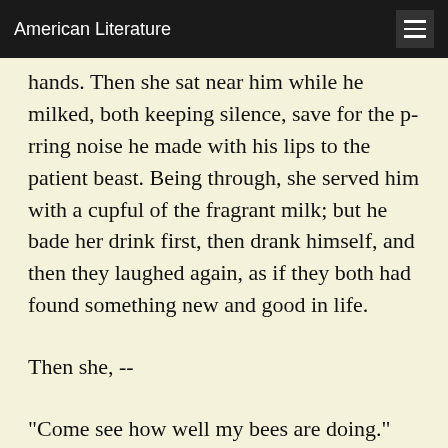American Literature
hands. Then she sat near him while he milked, both keeping silence, save for the p-rring noise he made with his lips to the patient beast. Being through, she served him with a cupful of the fragrant milk; but he bade her drink first, then drank himself, and then they laughed again, as if they both had found something new and good in life.
Then she, --
"Come see how well my bees are doing." And they went. She served him with the lucent syrup of the bees, perfumed with the mignonette, -- such honey as there never was before. He sat on the broad doorstep, near the scarlet poppies, she on the